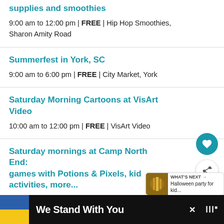supplies and smoothies
9:00 am to 12:00 pm | FREE | Hip Hop Smoothies, Sharon Amity Road
Summerfest in York, SC
9:00 am to 6:00 pm | FREE | City Market, York
Saturday Morning Cartoons at VisArt Video
10:00 am to 12:00 pm | FREE | VisArt Video
Saturday mornings at Camp North End: games with Potions & Pixels, kid activities, more...
We Stand With You